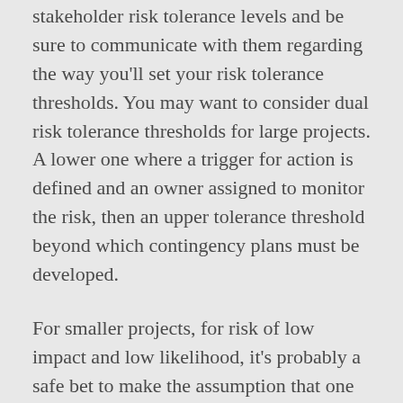stakeholder risk tolerance levels and be sure to communicate with them regarding the way you'll set your risk tolerance thresholds. You may want to consider dual risk tolerance thresholds for large projects. A lower one where a trigger for action is defined and an owner assigned to monitor the risk, then an upper tolerance threshold beyond which contingency plans must be developed.
For smaller projects, for risk of low impact and low likelihood, it's probably a safe bet to make the assumption that one or two will occur (add into the reserves) and ignore the rest.
Getting accurate estimates for the work needed to deal with risks will allow your overall budget estimate to be more accurate. The reserve planning for both time and budget can be used to